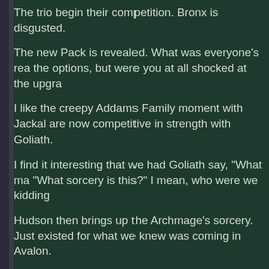The trio begin their competition. Bronx is disgusted.
The new Pack is revealed. What was everyone's reaction? I can see the options, but were you at all shocked at the upgra...
I like the creepy Addams Family moment with Jackal... are now competitive in strength with Goliath.
I find it interesting that we had Goliath say, "What ma... "What sorcery is this?" I mean, who were we kidding...
Hudson then brings up the Archmage's sorcery. Just... existed for what we knew was coming in Avalon.
I don't know if this was fixed for reairing, but their's a... Goliath spots COYOTE the robot flying off and goes... supposed to be him spotting just the little head. He g... find Xanatos or something. Then the giant Robot step... much better reveal.
I love the interaction as the Pack chooses a leader.
Cree is great reading: "Coyote, honey..." and "I find h... attraction to Coyote was a fun running gag. But did it...